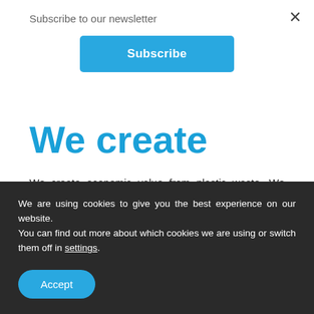Subscribe to our newsletter
Subscribe
We create
We create economic value from plastic waste. We currently make boats and office furniture. The more we
We are using cookies to give you the best experience on our website.
You can find out more about which cookies we are using or switch them off in settings.
Accept